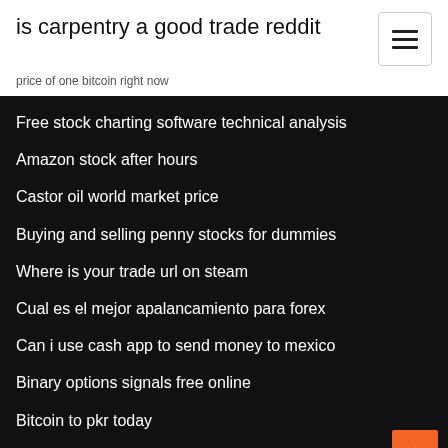is carpentry a good trade reddit
price of one bitcoin right now
Free stock charting software technical analysis
Amazon stock after hours
Castor oil world market price
Buying and selling penny stocks for dummies
Where is your trade url on steam
Cual es el mejor apalancamiento para forex
Can i use cash app to send money to mexico
Binary options signals free online
Bitcoin to pkr today
What are otcbb and pink sheet stocks